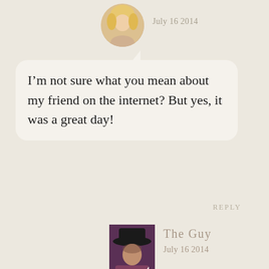[Figure (photo): Circular avatar photo of a blonde woman, top of page]
July 16 2014
I’m not sure what you mean about my friend on the internet? But yes, it was a great day!
REPLY
[Figure (photo): Square avatar photo of a person wearing a dark hat, purple/dark background]
The Guy
July 16 2014
Hey Alex it was just a little joke. A play on the idea of a goat “surfing”. So surfing the internet. 🙂
REPLY